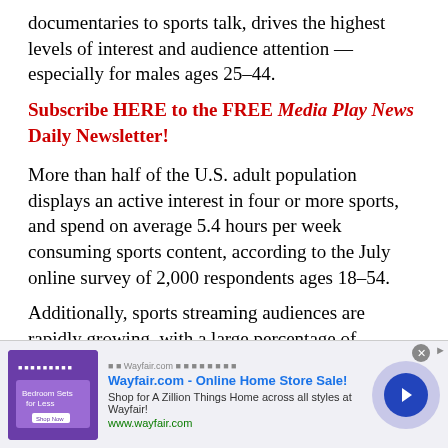documentaries to sports talk, drives the highest levels of interest and audience attention — especially for males ages 25-44.
Subscribe HERE to the FREE Media Play News Daily Newsletter!
More than half of the U.S. adult population displays an active interest in four or more sports, and spend on average 5.4 hours per week consuming sports content, according to the July online survey of 2,000 respondents ages 18-54.
Additionally, sports streaming audiences are rapidly growing, with a large percentage of viewers interested in more than 13 types of sports, including
[Figure (other): Wayfair.com advertisement banner — Online Home Store Sale! Shop for A Zillion Things Home across all styles at Wayfair! www.wayfair.com]